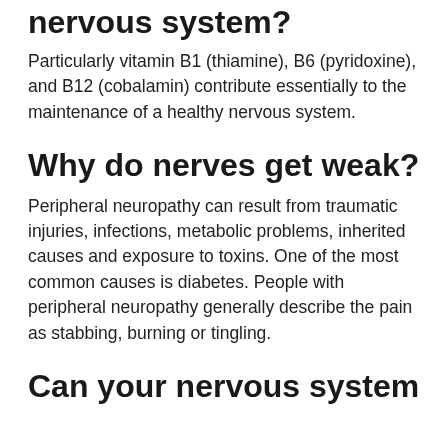nervous system?
Particularly vitamin B1 (thiamine), B6 (pyridoxine), and B12 (cobalamin) contribute essentially to the maintenance of a healthy nervous system.
Why do nerves get weak?
Peripheral neuropathy can result from traumatic injuries, infections, metabolic problems, inherited causes and exposure to toxins. One of the most common causes is diabetes. People with peripheral neuropathy generally describe the pain as stabbing, burning or tingling.
Can your nervous system